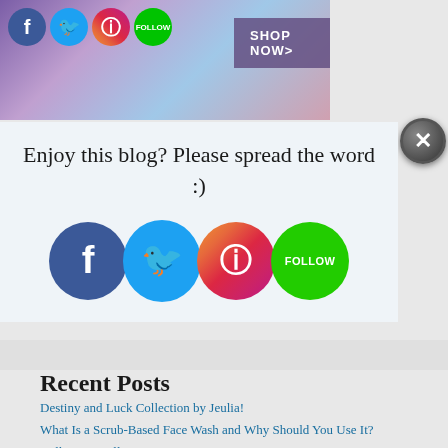[Figure (illustration): Banner image with jewelry background and social media icons (Facebook, Twitter, Instagram, Follow) plus a purple SHOP NOW> button]
[Figure (illustration): Close/X button circle overlay at top right of share box]
Enjoy this blog? Please spread the word :)
[Figure (illustration): Four large social media icon circles: Facebook (dark blue), Twitter (light blue), Instagram (gradient), Follow (green)]
Recent Posts
Destiny and Luck Collection by Jeulia!
What Is a Scrub-Based Face Wash and Why Should You Use It?
Helloice Jewellery Favourites!
How To Dress For Your Workplace